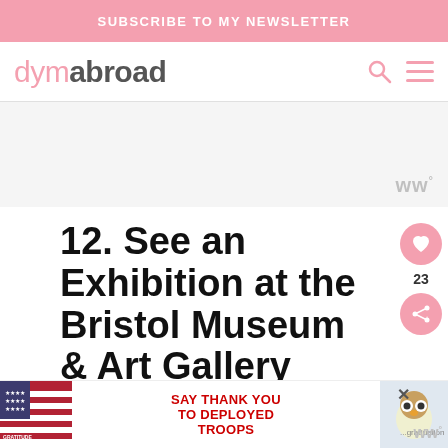SUBSCRIBE TO MY NEWSLETTER
dymabroad
[Figure (screenshot): Advertisement placeholder area with grey background and watermark 'ww°' symbol]
12. See an Exhibition at the Bristol Museum & Art Gallery
One of the best things to do alone in Bristol is
[Figure (screenshot): Bottom advertisement banner: Operation Gratitude - SAY THANK YOU TO DEPLOYED TROOPS with American flag graphic and owl mascot]